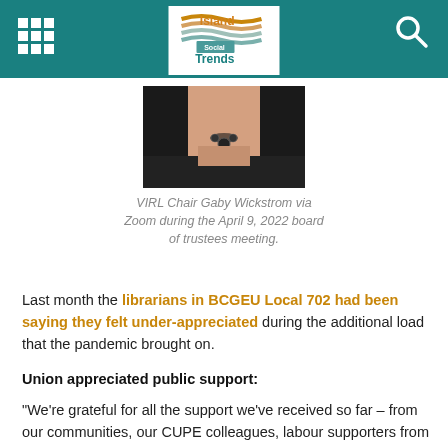Island Social Trends
[Figure (photo): Photo of VIRL Chair Gaby Wickstrom appearing via Zoom, showing neck and lower face with a necklace, against a dark background.]
VIRL Chair Gaby Wickstrom via Zoom during the April 9, 2022 board of trustees meeting.
Last month the librarians in BCGEU Local 702 had been saying they felt under-appreciated during the additional load that the pandemic brought on.
Union appreciated public support:
“We’re grateful for all the support we’ve received so far – from our communities, our CUPE colleagues, labour supporters from around the region, and even board members,” said BCGEU in a